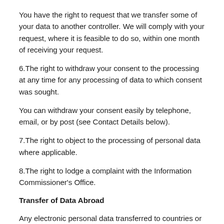You have the right to request that we transfer some of your data to another controller. We will comply with your request, where it is feasible to do so, within one month of receiving your request.
6.The right to withdraw your consent to the processing at any time for any processing of data to which consent was sought.
You can withdraw your consent easily by telephone, email, or by post (see Contact Details below).
7.The right to object to the processing of personal data where applicable.
8.The right to lodge a complaint with the Information Commissioner's Office.
Transfer of Data Abroad
Any electronic personal data transferred to countries or territories outside the EU will only be placed on systems complying with measures giving equivalent protection of personal rights either through international agreements or contracts approved by the